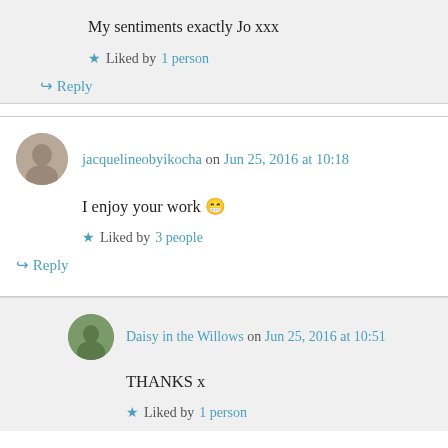My sentiments exactly Jo xxx
★ Liked by 1 person
↪ Reply
jacquelineobyikocha on Jun 25, 2016 at 10:18
I enjoy your work 😄
★ Liked by 3 people
↪ Reply
Daisy in the Willows on Jun 25, 2016 at 10:51
THANKS x
★ Liked by 1 person